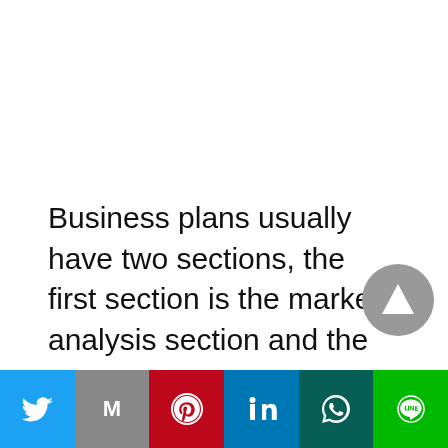Business plans usually have two sections, the first section is the market analysis section and the
[Figure (other): Social media share bar at the bottom with icons for Twitter, Gmail, Pinterest, LinkedIn, WhatsApp, and LINE]